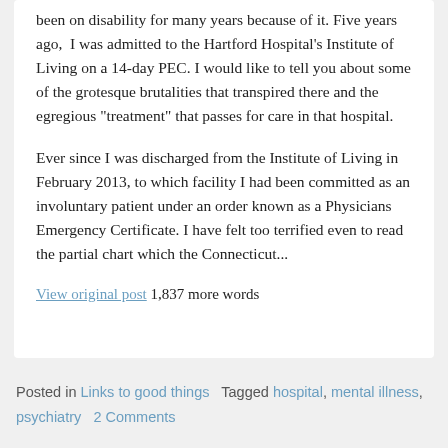been on disability for many years because of it. Five years ago,  I was admitted to the Hartford Hospital's Institute of Living on a 14-day PEC. I would like to tell you about some of the grotesque brutalities that transpired there and the egregious “treatment” that passes for care in that hospital.
Ever since I was discharged from the Institute of Living in February 2013, to which facility I had been committed as an involuntary patient under an order known as a Physicians Emergency Certificate. I have felt too terrified even to read the partial chart which the Connecticut...
View original post 1,837 more words
Posted in Links to good things  Tagged hospital, mental illness, psychiatry  2 Comments